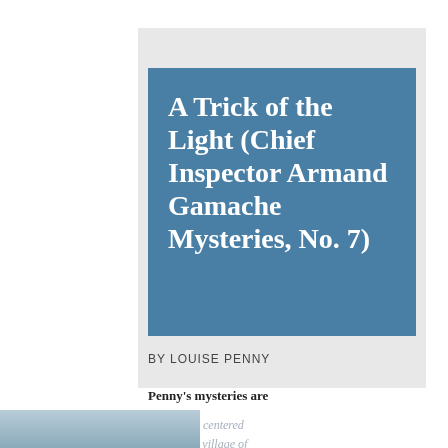A Trick of the Light (Chief Inspector Armand Gamache Mysteries, No. 7)
BY LOUISE PENNY
Penny's mysteries are
alternately centered in the cozy village of Three Pines and the